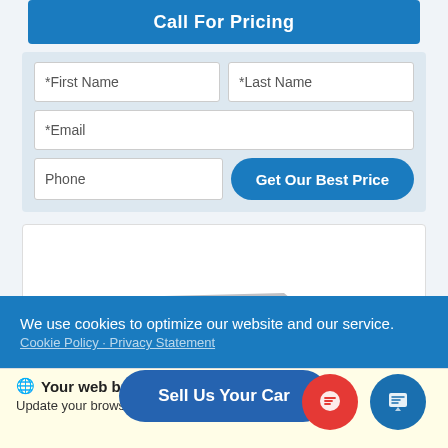Call For Pricing
[Figure (screenshot): Web form with First Name, Last Name, Email, Phone fields and a Get Our Best Price button on a light blue background]
[Figure (photo): Silver sedan car partially visible in a white box]
We use cookies to optimize our website and our service.
Cookie Policy · Privacy Statement
Your web browser (iOS 11) is out of date.
Update your browser for more security, speed and
Sell Us Your Car